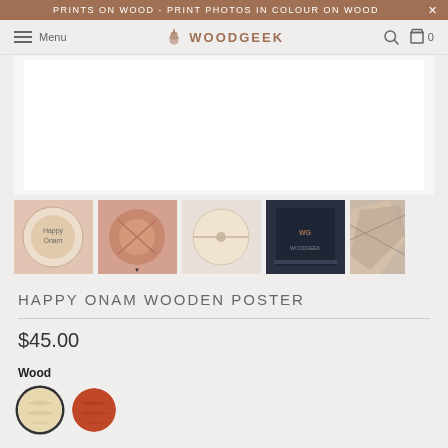PRINTS ON WOOD - PRINT PHOTOS IN COLOUR ON WOOD
Menu | WOODGEEK | 0
[Figure (photo): Gallery of wooden poster product images: Happy Onam engraved wooden poster, wooden coaster close-up, circular wooden disc, Woodgeek branded dark blue product box, and a partially visible geometric wood design.]
HAPPY ONAM WOODEN POSTER
$45.00
Wood